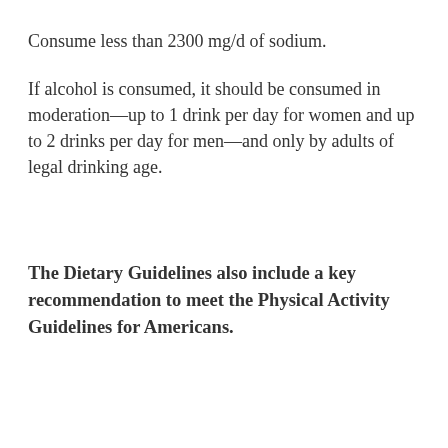Consume less than 2300 mg/d of sodium.
If alcohol is consumed, it should be consumed in moderation—up to 1 drink per day for women and up to 2 drinks per day for men—and only by adults of legal drinking age.
The Dietary Guidelines also include a key recommendation to meet the Physical Activity Guidelines for Americans.